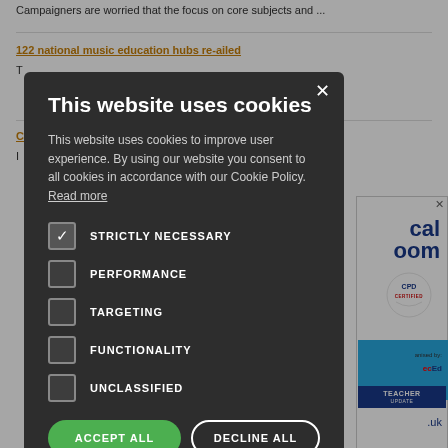Campaigners are worried that the focus on core subjects and ...
122 national music education hubs re-ailed
I ....
[Figure (screenshot): Cookie consent modal dialog with dark background overlay on a news/education website. Modal contains title 'This website uses cookies', descriptive text, checkboxes for STRICTLY NECESSARY (checked), PERFORMANCE, TARGETING, FUNCTIONALITY, UNCLASSIFIED, and buttons ACCEPT ALL and DECLINE ALL, plus SHOW DETAILS link.]
[Figure (screenshot): Advertisement panel on the right side showing 'cal room' text in blue, CPD Certified badge, blue bar with TecEd and TEACHER branding, and .uk domain text.]